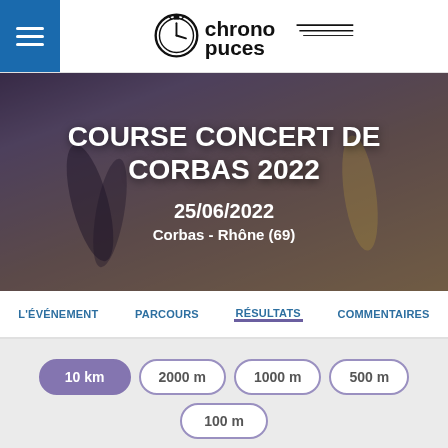Chrono Puces logo and navigation menu
[Figure (photo): Hero image of runners with dark overlay, showing race event details]
COURSE CONCERT DE CORBAS 2022
25/06/2022
Corbas - Rhône (69)
L'ÉVÉNEMENT  PARCOURS  RÉSULTATS  COMMENTAIRES
10 km
2000 m
1000 m
500 m
100 m
258 PARTICIPANTS
Filtrer par catégorie